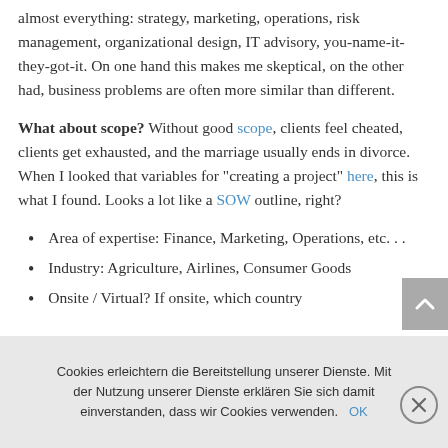almost everything: strategy, marketing, operations, risk management, organizational design, IT advisory, you-name-it-they-got-it. On one hand this makes me skeptical, on the other had, business problems are often more similar than different.
What about scope? Without good scope, clients feel cheated, clients get exhausted, and the marriage usually ends in divorce. When I looked that variables for “creating a project” here, this is what I found. Looks a lot like a SOW outline, right?
Area of expertise: Finance, Marketing, Operations, etc. . .
Industry: Agriculture, Airlines, Consumer Goods
Onsite / Virtual?  If onsite, which country
Cookies erleichtern die Bereitstellung unserer Dienste. Mit der Nutzung unserer Dienste erklären Sie sich damit einverstanden, dass wir Cookies verwenden.  OK